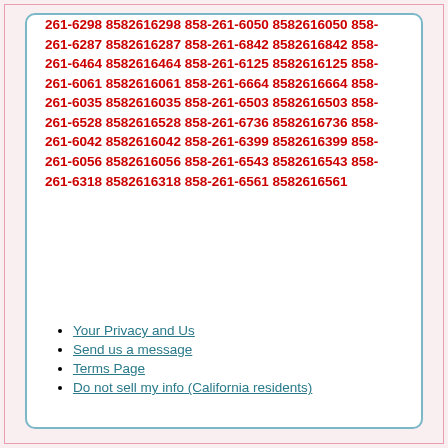261-6298 8582616298 858-261-6050 8582616050 858-261-6287 8582616287 858-261-6842 8582616842 858-261-6464 8582616464 858-261-6125 8582616125 858-261-6061 8582616061 858-261-6664 8582616664 858-261-6035 8582616035 858-261-6503 8582616503 858-261-6528 8582616528 858-261-6736 8582616736 858-261-6042 8582616042 858-261-6399 8582616399 858-261-6056 8582616056 858-261-6543 8582616543 858-261-6318 8582616318 858-261-6561 8582616561
Your Privacy and Us
Send us a message
Terms Page
Do not sell my info (California residents)